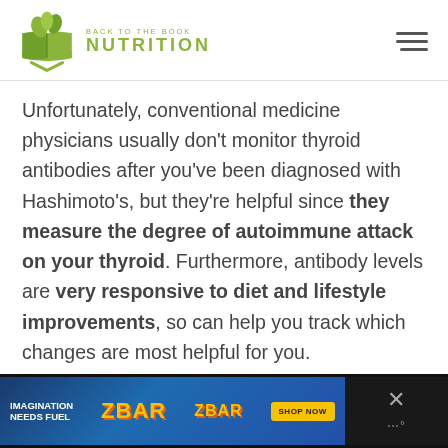Back to the Book Nutrition
Unfortunately, conventional medicine physicians usually don't monitor thyroid antibodies after you've been diagnosed with Hashimoto's, but they're helpful since they measure the degree of autoimmune attack on your thyroid. Furthermore, antibody levels are very responsive to diet and lifestyle improvements, so can help you track which changes are most helpful for you.
38